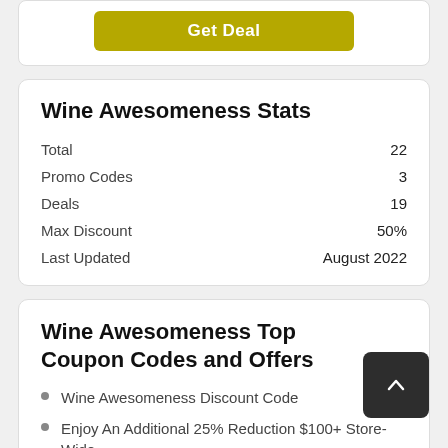Get Deal
Wine Awesomeness Stats
|  |  |
| --- | --- |
| Total | 22 |
| Promo Codes | 3 |
| Deals | 19 |
| Max Discount | 50% |
| Last Updated | August 2022 |
Wine Awesomeness Top Coupon Codes and Offers
Wine Awesomeness Discount Code
Enjoy An Additional 25% Reduction $100+ Store-Wide
Shop Our Mystery 6-Pack Wine